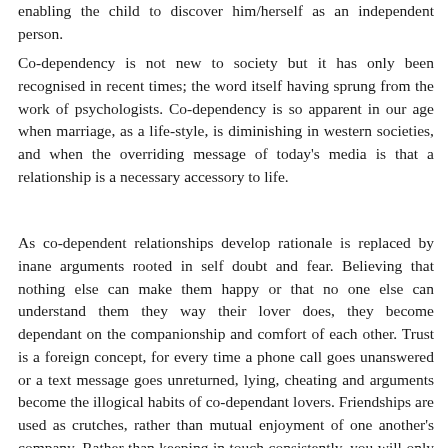enabling the child to discover him/herself as an independent person.
Co-dependency is not new to society but it has only been recognised in recent times; the word itself having sprung from the work of psychologists. Co-dependency is so apparent in our age when marriage, as a life-style, is diminishing in western societies, and when the overriding message of today's media is that a relationship is a necessary accessory to life.
As co-dependent relationships develop rationale is replaced by inane arguments rooted in self doubt and fear. Believing that nothing else can make them happy or that no one else can understand them they way their lover does, they become dependant on the companionship and comfort of each other. Trust is a foreign concept, for every time a phone call goes unanswered or a text message goes unreturned, lying, cheating and arguments become the illogical habits of co-dependant lovers. Friendships are used as crutches, rather than mutual enjoyment of one another's company. Rather than keeping in touch consistently, you will only speak to your other friends when you need them, and not be there for them in return. When your friends begin to sense a pattern in your actions and realize your fair-weathered friendship has no purpose they will be no more than a momentary gratification when you